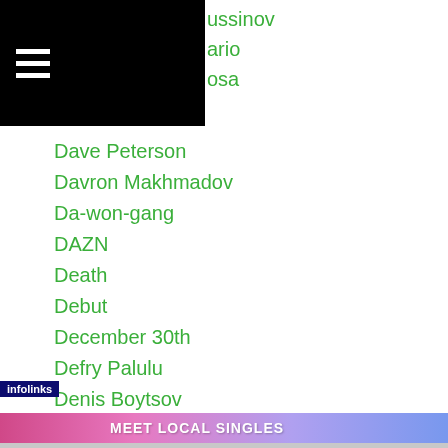[Figure (screenshot): Black navigation header bar with hamburger menu icon (three white horizontal lines) on the left side]
ussinov
ario
osa
Dave Peterson
Davron Makhmadov
Da-won-gang
DAZN
Death
Debut
December 30th
Defry Palulu
Denis Boytsov
Denise-castle
Denis Lebedev
Denis Shafikov
Denis-shafikov
[Figure (screenshot): Infolinks advertisement banner: MEET LOCAL SINGLES, JOIN WITH A FREE TRIAL TODAY, clover branding, pink/blue gradient background with a woman photo]